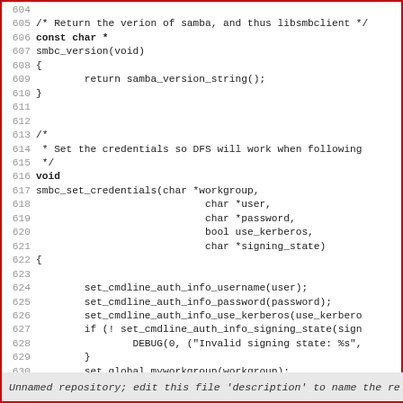[Figure (screenshot): Source code listing showing C functions smbc_version and smbc_set_credentials, lines 604-632, with line numbers in grey on the left and code in monospace font.]
Unnamed repository; edit this file 'description' to name the re